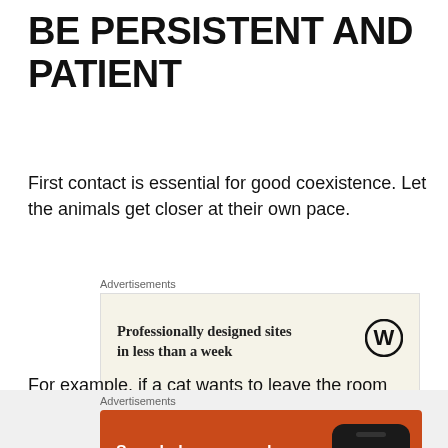BE PERSISTENT AND PATIENT
First contact is essential for good coexistence. Let the animals get closer at their own pace.
[Figure (other): WordPress advertisement: 'Professionally designed sites in less than a week' with WordPress logo on a cream background]
For example, if a cat wants to leave the room after seeing a dog, let the cat escape, and try again tomorrow
[Figure (other): DuckDuckGo advertisement: 'Search, browse, and email with more privacy. All in One Free App' on orange background with phone image and DuckDuckGo logo]